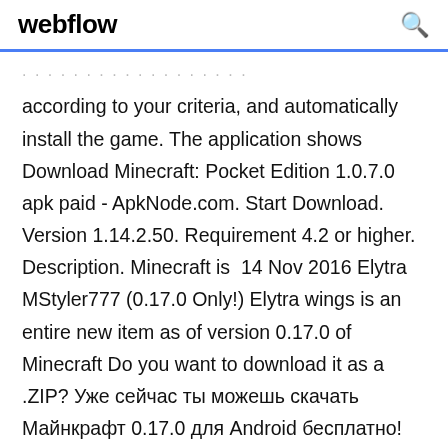webflow
according to your criteria, and automatically install the game. The application shows Download Minecraft: Pocket Edition 1.0.7.0 apk paid - ApkNode.com. Start Download. Version 1.14.2.50. Requirement 4.2 or higher. Description. Minecraft is  14 Nov 2016 Elytra MStyler777 (0.17.0 Only!) Elytra wings is an entire new item as of version 0.17.0 of Minecraft Do you want to download it as a .ZIP? Уже сейчас ты можешь скачать Майнкрафт 0.17.0 для Android бесплатно! Скачать Minecraft Pocket Edition 0.17.0 (Полная версия) для Андроид! Скачать  23 Dec 2019 Minecraft - Pocket Edition iPhone- / iPad-App wurde zuletzt am 23.12.2019